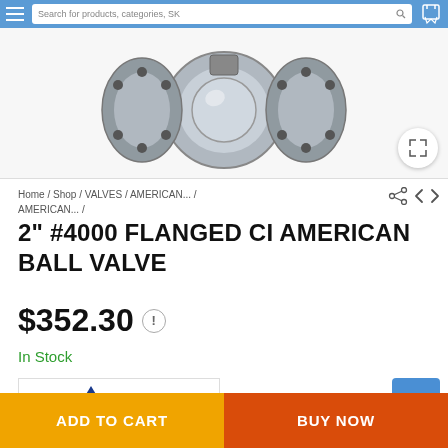[Figure (screenshot): E-commerce product page screenshot showing a flanged ball valve product listing]
Search for products, categories, SK
[Figure (photo): Product photo of a 2 inch flanged cast iron ball valve, metallic silver/grey with flanged ends and bolt holes]
Home / Shop / VALVES / AMERICAN... / AMERICAN... /
2" #4000 FLANGED CI AMERICAN BALL VALVE
$352.30
In Stock
[Figure (logo): American Valve logo with blue and red triangular A shape and text AMERICAN VALVE]
ADD TO CART
BUY NOW